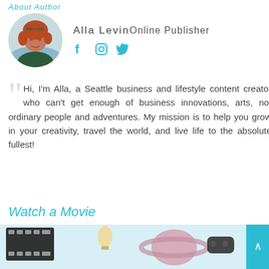About Author
[Figure (photo): Circular profile photo of Alla Levin, a woman with red hair wearing sunglasses on her head and a dark green top, outdoors near water]
Alla Levin Online Publisher
[Figure (infographic): Social media icons: Facebook (f), Instagram (circle), Twitter (bird) in teal/cyan color]
Hi, I'm Alla, a Seattle business and lifestyle content creator who can't get enough of business innovations, arts, not ordinary people and adventures. My mission is to help you grow in your creativity, travel the world, and live life to the absolute fullest!
Watch a Movie
[Figure (photo): Movie-themed decorative image with film strip (black reel), light bulbs, Saturn planet (pink/mauve), and a TV remote control, on a light blue background]